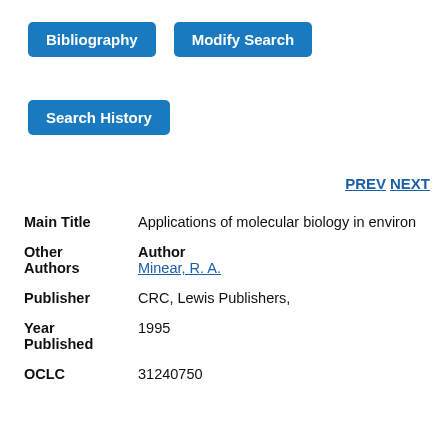[Figure (screenshot): Blue button labeled 'Bibliography']
[Figure (screenshot): Blue button labeled 'Modify Search']
[Figure (screenshot): Blue button labeled 'Search History']
PREV NEXT
| Main Title | Applications of molecular biology in environ |
| Other Authors | Author
Minear, R. A. |
| Publisher | CRC, Lewis Publishers, |
| Year Published | 1995 |
| OCLC | 31240750 |